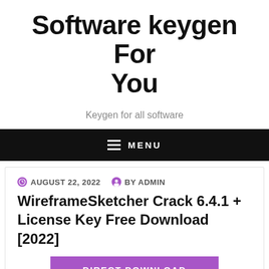Software keygen For You
Keygen for all software
MENU
AUGUST 22, 2022  BY ADMIN
WireframeSketcher Crack 6.4.1 + License Key Free Download [2022]
DIRECT DOWNLOAD
DOWNLOAD USA LINK